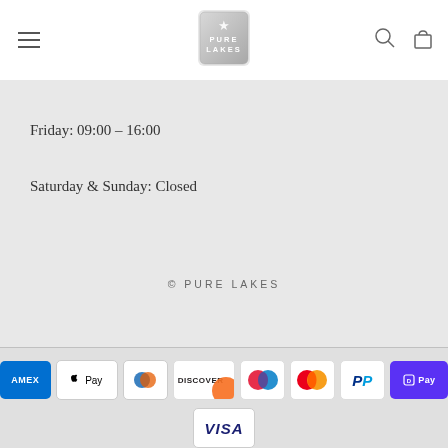[Figure (logo): Pure Lakes logo - silver badge with star and text PURE LAKES]
Friday: 09:00 - 16:00
Saturday & Sunday: Closed
© PURE LAKES
[Figure (infographic): Payment method icons: American Express, Apple Pay, Diners Club, Discover, Maestro, Mastercard, PayPal, Shop Pay, Visa]